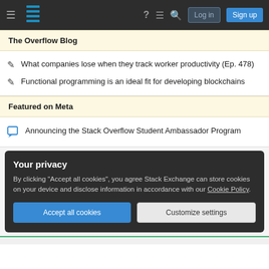Stack Overflow navigation bar with hamburger menu, logo, help, chat, search icons, Log in and Sign up buttons
The Overflow Blog
What companies lose when they track worker productivity (Ep. 478)
Functional programming is an ideal fit for developing blockchains
Featured on Meta
Announcing the Stack Overflow Student Ambassador Program
Your privacy
By clicking "Accept all cookies", you agree Stack Exchange can store cookies on your device and disclose information in accordance with our Cookie Policy.
Accept all cookies | Customize settings